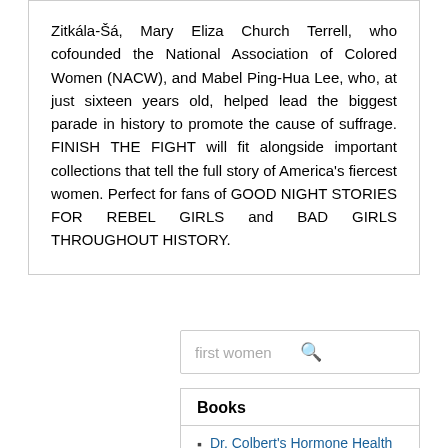Zitkála-Šá, Mary Eliza Church Terrell, who cofounded the National Association of Colored Women (NACW), and Mabel Ping-Hua Lee, who, at just sixteen years old, helped lead the biggest parade in history to promote the cause of suffrage. FINISH THE FIGHT will fit alongside important collections that tell the full story of America's fiercest women. Perfect for fans of GOOD NIGHT STORIES FOR REBEL GIRLS and BAD GIRLS THROUGHOUT HISTORY.
[Figure (screenshot): Search bar with placeholder text 'first women' and a search icon on the right]
Books
Dr. Colbert's Hormone Health Zone